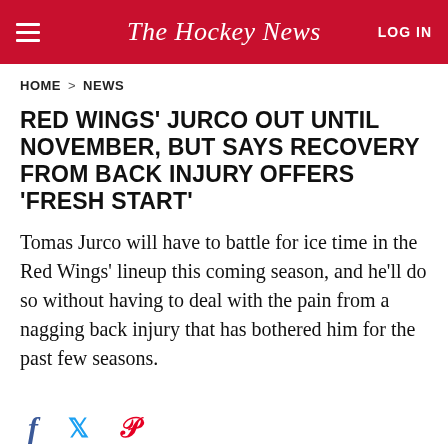The Hockey News | LOG IN
HOME > NEWS
RED WINGS' JURCO OUT UNTIL NOVEMBER, BUT SAYS RECOVERY FROM BACK INJURY OFFERS 'FRESH START'
Tomas Jurco will have to battle for ice time in the Red Wings' lineup this coming season, and he'll do so without having to deal with the pain from a nagging back injury that has bothered him for the past few seasons.